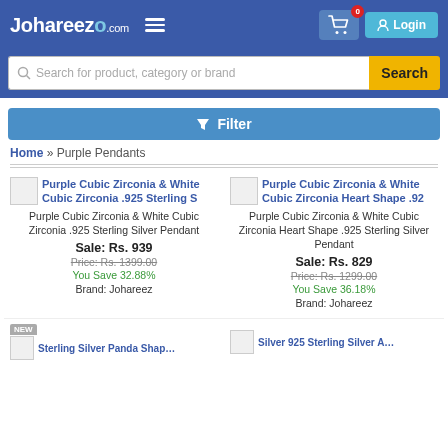Johareezo.com
Search for product, category or brand
Filter
Home » Purple Pendants
Purple Cubic Zirconia & White Cubic Zirconia .925 Sterling Silver Pendant | Sale: Rs. 939 | Price: Rs. 1399.00 | You Save 32.88% | Brand: Johareez
Purple Cubic Zirconia & White Cubic Zirconia Heart Shape .925 Sterling Silver Pendant | Sale: Rs. 829 | Price: Rs. 1299.00 | You Save 36.18% | Brand: Johareez